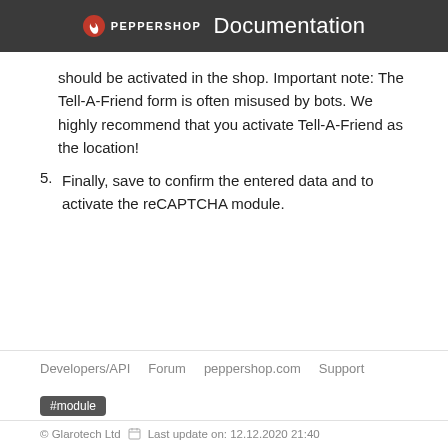PEPPERSHOP Documentation
should be activated in the shop. Important note: The Tell-A-Friend form is often misused by bots. We highly recommend that you activate Tell-A-Friend as the location!
5. Finally, save to confirm the entered data and to activate the reCAPTCHA module.
Developers/API  Forum  peppershop.com  Support
#module
© Glarotech Ltd  Last update on: 12.12.2020 21:40